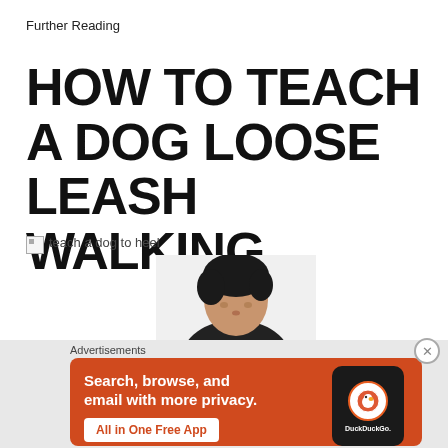Further Reading
HOW TO TEACH A DOG LOOSE LEASH WALKING
[Figure (photo): Broken image placeholder labeled 'teach a dog to heel' with a partial photo of a child with dark hair looking down, wearing a dark jacket]
Advertisements
[Figure (infographic): DuckDuckGo advertisement banner with orange background. Text reads: 'Search, browse, and email with more privacy. All in One Free App' with DuckDuckGo logo on a smartphone graphic.]